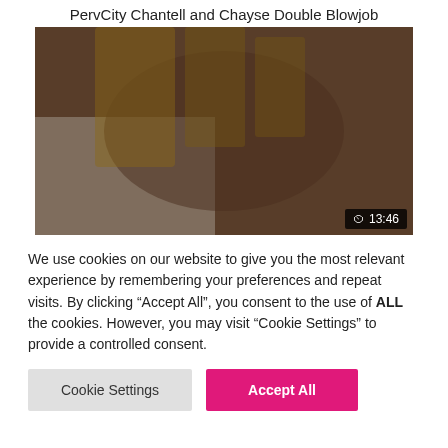PervCity Chantell and Chayse Double Blowjob
[Figure (screenshot): Video thumbnail showing adult content with duration badge showing 13:46]
We use cookies on our website to give you the most relevant experience by remembering your preferences and repeat visits. By clicking "Accept All", you consent to the use of ALL the cookies. However, you may visit "Cookie Settings" to provide a controlled consent.
Cookie Settings | Accept All